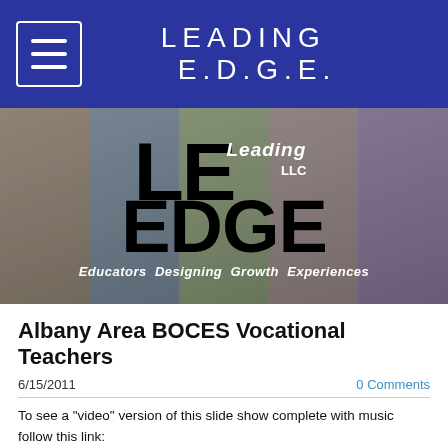LEADING E.D.G.E.
[Figure (photo): Leading EDGE LLC banner with photo collage background showing educators and students. Large LE logo with 'Leading LLC' text and 'EDGE' bold text. Tagline: Educators Designing Growth Experiences]
Albany Area BOCES Vocational Teachers
6/15/2011
0 Comments
To see a "video" version of this slide show complete with music follow this link: http://www.slideboom.com/presentations/374906/Capital-Area-BOCES-S.P.E.C.-Archeological-Dig-June-2011 or just watch the pictures below.